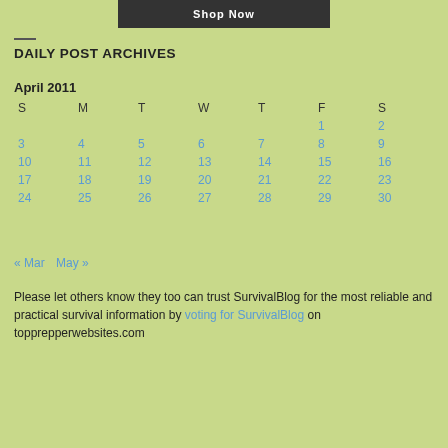[Figure (photo): Banner image showing 'Shop Now' text with a dark background]
DAILY POST ARCHIVES
| S | M | T | W | T | F | S |
| --- | --- | --- | --- | --- | --- | --- |
|  |  |  |  |  | 1 | 2 |
| 3 | 4 | 5 | 6 | 7 | 8 | 9 |
| 10 | 11 | 12 | 13 | 14 | 15 | 16 |
| 17 | 18 | 19 | 20 | 21 | 22 | 23 |
| 24 | 25 | 26 | 27 | 28 | 29 | 30 |
« Mar   May »
Please let others know they too can trust SurvivalBlog for the most reliable and practical survival information by voting for SurvivalBlog on topprepperwebsites.com